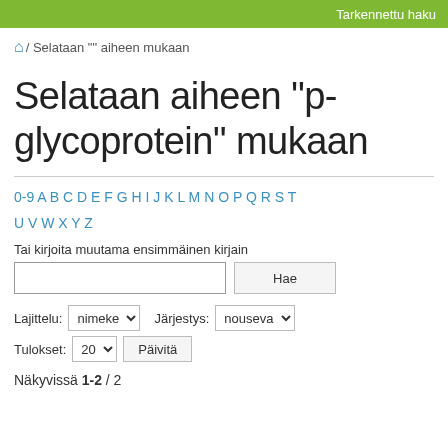Tarkennettu haku
/ Selataan "" aiheen mukaan
Selataan aiheen "p-glycoprotein" mukaan
0-9 A B C D E F G H I J K L M N O P Q R S T U V W X Y Z
Tai kirjoita muutama ensimmäinen kirjain
Hae
Lajittelu: nimeke   Järjestys: nouseva
Tulokset: 20   Päivitä
Näkyvissä 1-2 / 2